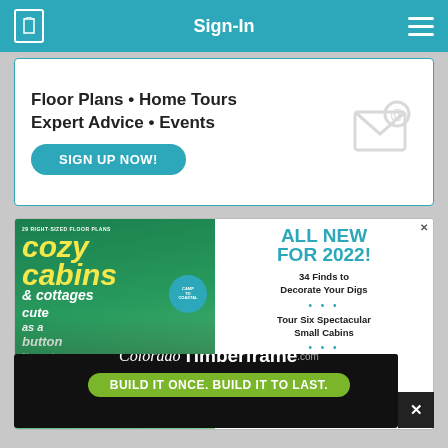Sign-In
[Figure (infographic): Sign-up banner: Floor Plans • Home Tours, Expert Advice • Events, SIGN UP NOW! button with email envelope icon]
[Figure (infographic): Magazine advertisement for Cozy Cabins & Cottages 2022 issue. Left: magazine cover with cozy cabins text. Right: ALL NEW FOR 2022! 34 Finds to Decorate Your Digs, Tour Six Spectacular Small Cabins, PLUS: Recipes, Waterfront Design Ideas, Off-Grid Living and More!]
[Figure (infographic): Colorado Timberframe.com advertisement. BUILD IT ONCE. BUILD IT TO LAST.]